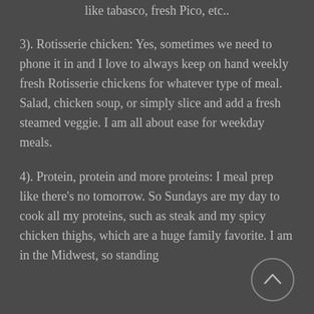like tabasco, fresh Pico, etc..
3). Rotisserie chicken: Yes, sometimes we need to phone it in and I love to always keep on hand weekly fresh Rotisserie chickens for whatever type of meal. Salad, chicken soup, or simply slice and add a fresh steamed veggie. I am all about ease for weekday meals.
4). Protein, protein and more proteins: I meal prep like there's no tomorrow. So Sundays are my day to cook all my proteins, such as steak and my spicy chicken thighs, which are a huge family favorite. I am in the Midwest, so standing